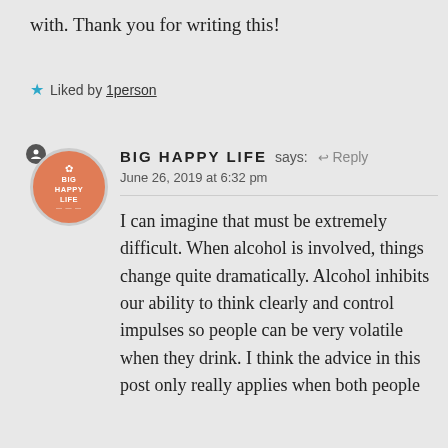with. Thank you for writing this!
★ Liked by 1person
[Figure (logo): Big Happy Life circular logo with flower icon, orange/salmon background, white text]
BIG HAPPY LIFE says: ↵ Reply
June 26, 2019 at 6:32 pm
I can imagine that must be extremely difficult. When alcohol is involved, things change quite dramatically. Alcohol inhibits our ability to think clearly and control impulses so people can be very volatile when they drink. I think the advice in this post only really applies when both people